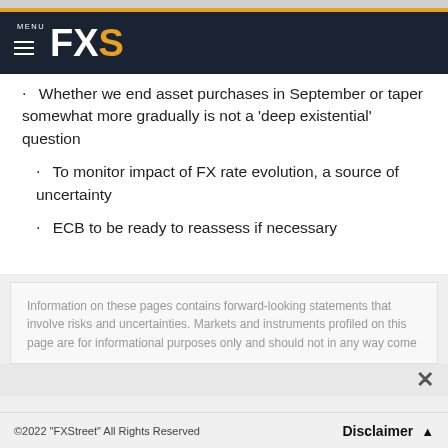MENU FXS
Whether we end asset purchases in September or taper somewhat more gradually is not a 'deep existential' question
To monitor impact of FX rate evolution, a source of uncertainty
ECB to be ready to reassess if necessary
Information on these pages contains forward-looking statements that involve risks and uncertainties. Markets and instruments profiled on this page are for informational purposes only and should not in any way come
©2022 "FXStreet" All Rights Reserved    Disclaimer ▲